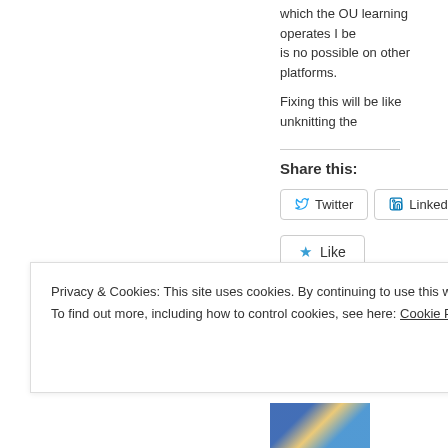which the OU learning operates I be is no possible on other platforms.
Fixing this will be like unknitting the
Share this:
[Figure (other): Social share buttons: Twitter, LinkedIn, Tumblr, Like button]
Be the first to like this.
Privacy & Cookies: This site uses cookies. By continuing to use this website, you agree to their use. To find out more, including how to control cookies, see here: Cookie Policy
Close and accept